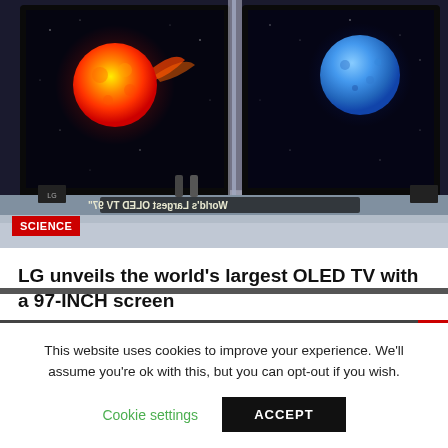[Figure (photo): Large LG OLED TVs on display showing a glowing red/orange sun on the left screen and a blue moon on the right screen, with a sign reading 'World's Largest OLED TV 97"' in mirrored text on a platform in front.]
SCIENCE
LG unveils the world's largest OLED TV with a 97-INCH screen
09/01/2022
This website uses cookies to improve your experience. We'll assume you're ok with this, but you can opt-out if you wish.
Cookie settings
ACCEPT